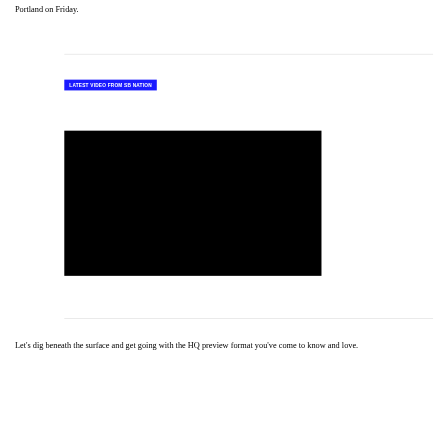Portland on Friday.
[Figure (screenshot): Black video player with 'LATEST VIDEO FROM SB NATION' blue label banner above it]
Let's dig beneath the surface and get going with the HQ preview format you've come to know and love.